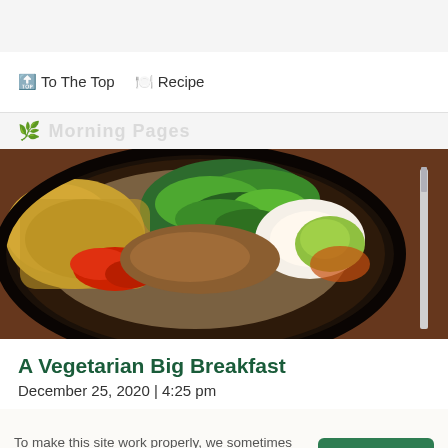To The Top   Recipe
Morning Pages
[Figure (photo): Close-up of a vegetarian big breakfast plate with greens, roasted potatoes, red pepper, egg, and avocado on a dark plate, with a knife visible on the right side.]
A Vegetarian Big Breakfast
December 25, 2020 | 4:25 pm
[Figure (photo): Bottom area showing a food background image with various ingredients (citrus, apple, herbs, seeds) partially visible behind a cookie consent overlay.]
To make this site work properly, we sometimes place small data files called cookies on your device.
OK